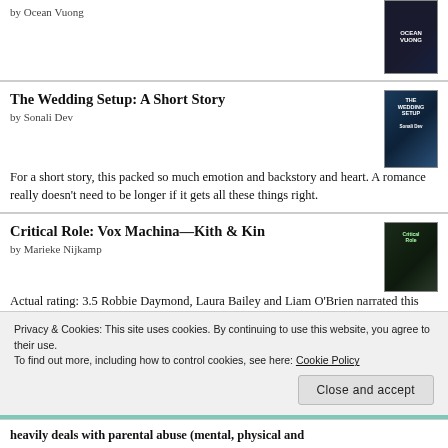by Ocean Vuong
The Wedding Setup: A Short Story
by Sonali Dev
For a short story, this packed so much emotion and backstory and heart. A romance really doesn't need to be longer if it gets all these things right.
Critical Role: Vox Machina—Kith & Kin
by Marieke Nijkamp
Actual rating: 3.5 Robbie Daymond, Laura Bailey and Liam O'Brien narrated this backstory for the twins fantastically. I think it will probably appeal to people who like Critical Role more than to those who just see it as a regular Fanta...
Privacy & Cookies: This site uses cookies. By continuing to use this website, you agree to their use.
To find out more, including how to control cookies, see here: Cookie Policy
heavily deals with parental abuse (mental, physical and